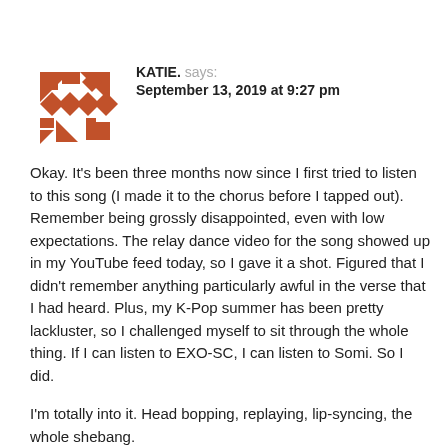[Figure (illustration): Geometric abstract avatar icon made of terracotta/rust colored squares, triangles, and diamond shapes arranged in a quilt-like pattern]
KATIE. says:
September 13, 2019 at 9:27 pm
Okay. It's been three months now since I first tried to listen to this song (I made it to the chorus before I tapped out). Remember being grossly disappointed, even with low expectations. The relay dance video for the song showed up in my YouTube feed today, so I gave it a shot. Figured that I didn't remember anything particularly awful in the verse that I had heard. Plus, my K-Pop summer has been pretty lackluster, so I challenged myself to sit through the whole thing. If I can listen to EXO-SC, I can listen to Somi. So I did.
I'm totally into it. Head bopping, replaying, lip-syncing, the whole shebang.
I'm just as shocked as you are.